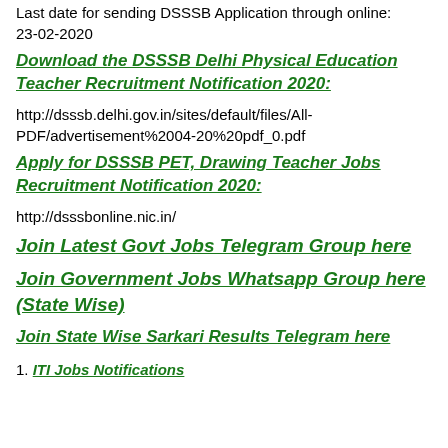Last date for sending DSSSB Application through online: 23-02-2020
Download the DSSSB Delhi Physical Education Teacher Recruitment Notification 2020:
http://dsssb.delhi.gov.in/sites/default/files/All-PDF/advertisement%2004-20%20pdf_0.pdf
Apply for DSSSB PET, Drawing Teacher Jobs Recruitment Notification 2020:
http://dsssbonline.nic.in/
Join Latest Govt Jobs Telegram Group here
Join Government Jobs Whatsapp Group here (State Wise)
Join State Wise Sarkari Results Telegram here
1. ITI Jobs Notifications